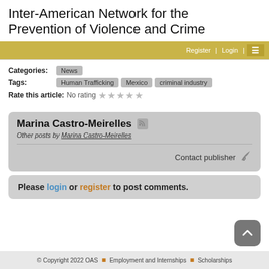Inter-American Network for the Prevention of Violence and Crime
Register  Login  ≡
Categories: News
Tags: Human Trafficking  Mexico  criminal industry
Rate this article: No rating ☆☆☆☆☆
Marina Castro-Meirelles
Other posts by Marina Castro-Meirelles
Contact publisher
Please login or register to post comments.
© Copyright 2022 OAS  ■  Employment and Internships  ■  Scholarships